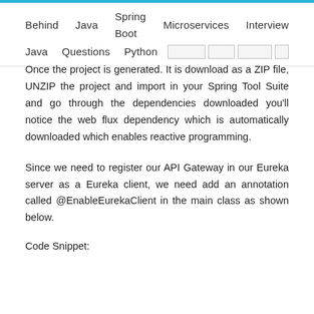Behind   Java   Spring Boot   Microservices   Interview
Java      Questions   Python
Once the project is generated. It is download as a ZIP file, UNZIP the project and import in your Spring Tool Suite and go through the dependencies downloaded you'll notice the web flux dependency which is automatically downloaded which enables reactive programming.
Since we need to register our API Gateway in our Eureka server as a Eureka client, we need add an annotation called @EnableEurekaClient in the main class as shown below.
Code Snippet: